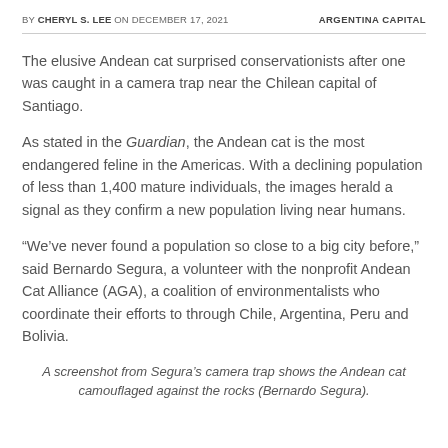BY CHERYL S. LEE ON DECEMBER 17, 2021   ARGENTINA CAPITAL
The elusive Andean cat surprised conservationists after one was caught in a camera trap near the Chilean capital of Santiago.
As stated in the Guardian, the Andean cat is the most endangered feline in the Americas. With a declining population of less than 1,400 mature individuals, the images herald a signal as they confirm a new population living near humans.
“We’ve never found a population so close to a big city before,” said Bernardo Segura, a volunteer with the nonprofit Andean Cat Alliance (AGA), a coalition of environmentalists who coordinate their efforts to through Chile, Argentina, Peru and Bolivia.
A screenshot from Segura’s camera trap shows the Andean cat camouflaged against the rocks (Bernardo Segura).